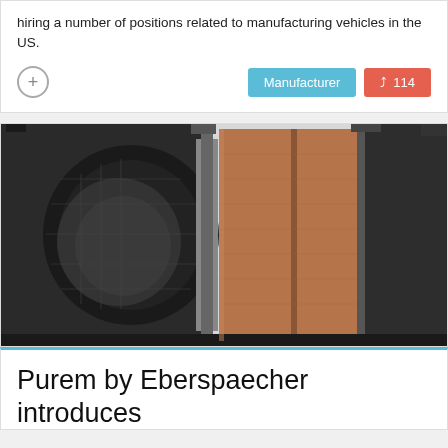hiring a number of positions related to manufacturing vehicles in the US.
[Figure (other): Cut-away engineering view of an exhaust after-treatment component (particulate filter/catalytic converter) showing internal brown/copper ceramic substrate sections and dark metallic housing.]
Purem by Eberspaecher introduces